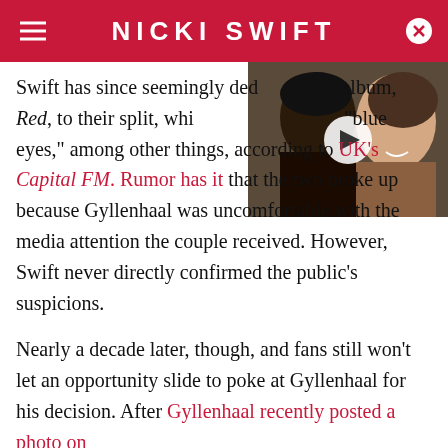NICKI SWIFT
[Figure (photo): Two people close together, a man and a woman smiling, with a video play button overlay]
Swift has since seemingly dedicated her album, Red, to their split, which she symbolized "blue eyes," among other things, according to UK's Capital FM. Rumor has it that the two broke up because Gyllenhaal was uncomfortable with the media attention the couple received. However, Swift never directly confirmed the public's suspicions.
Nearly a decade later, though, and fans still won't let an opportunity slide to poke at Gyllenhaal for his decision. After Gyllenhaal recently posted a photo on